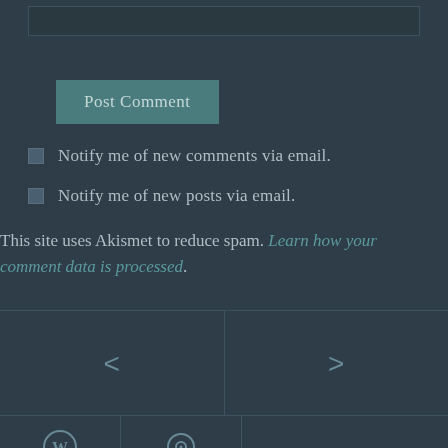[Figure (screenshot): Top input bar (text field, partially visible)]
[Figure (screenshot): Post Comment button with teal background]
Notify me of new comments via email.
Notify me of new posts via email.
This site uses Akismet to reduce spam. Learn how your comment data is processed.
[Figure (screenshot): Navigation section with left < and right > arrows]
[Figure (screenshot): Footer icon bar with WordPress logo and follow icon]